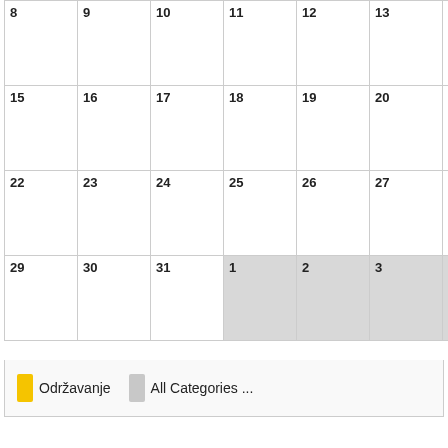| 8 | 9 | 10 | 11 | 12 | 13 | 14 |
| --- | --- | --- | --- | --- | --- | --- |
| 15 | 16 | 17 | 18 | 19 | 20 | 21 |
| 22 | 23 | 24 | 25 | 26 | 27 | 28 |
| 29 | 30 | 31 | 1 | 2 | 3 | 4 |
Održavanje   All Categories ...